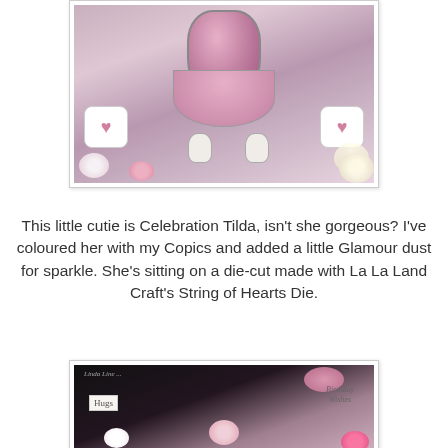[Figure (photo): Close-up photo of a Celebration Tilda craft figure wearing a pink/mauve dress with white boots, surrounded by white heart decorations, pink and white flowers, and paper rosettes on a soft pink background.]
This little cutie is Celebration Tilda, isn't she gorgeous? I've coloured her with my Copics and added a little Glamour dust for sparkle. She's sitting on a die-cut made with La La Land Craft's String of Hearts Die.
[Figure (photo): Photo of a decorative craft card/arrangement featuring pink bows, roses, white flowers, a 'Hugs' tag, and 'Birthday Wishes' text on a dark background with pink and white embellishments.]